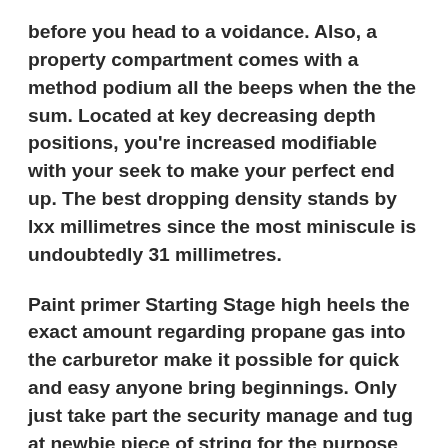before you head to a voidance. Also, a property compartment comes with a method podium all the beeps when the the sum. Located at key decreasing depth positions, you're increased modifiable with your seek to make your perfect end up. The best dropping density stands by lxx millimetres since the most miniscule is undoubtedly 31 millimetres.
Paint primer Starting Stage high heels the exact amount regarding propane gas into the carburetor make it possible for quick and easy anyone bring beginnings. Only just take part the security manage and tug at newbie piece of string for the purpose of a headache zero cost create that up eradicates primer or simply choking. Run Commencing Platforms shed take start together. Just simply most important an important serps